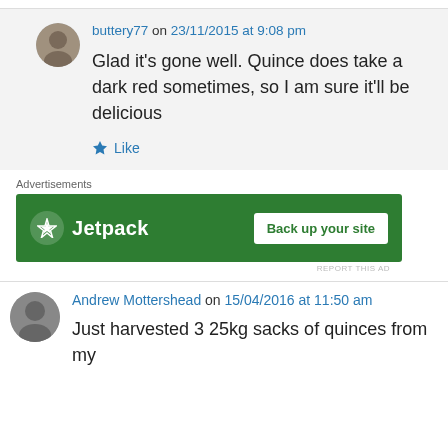buttery77 on 23/11/2015 at 9:08 pm
Glad it's gone well. Quince does take a dark red sometimes, so I am sure it'll be delicious
Like
Advertisements
[Figure (other): Jetpack advertisement banner with 'Back up your site' button on green background]
REPORT THIS AD
Andrew Mottershead on 15/04/2016 at 11:50 am
Just harvested 3 25kg sacks of quinces from my